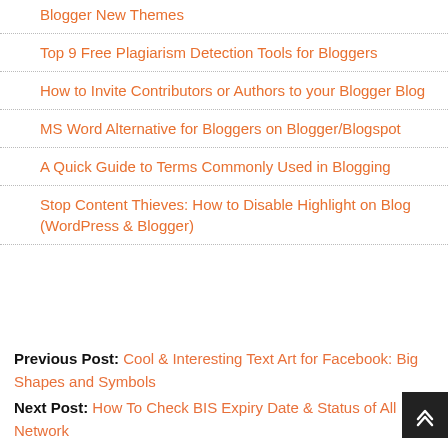Blogger New Themes
Top 9 Free Plagiarism Detection Tools for Bloggers
How to Invite Contributors or Authors to your Blogger Blog
MS Word Alternative for Bloggers on Blogger/Blogspot
A Quick Guide to Terms Commonly Used in Blogging
Stop Content Thieves: How to Disable Highlight on Blog (WordPress & Blogger)
Previous Post: Cool & Interesting Text Art for Facebook: Big Shapes and Symbols
Next Post: How To Check BIS Expiry Date & Status of All Network